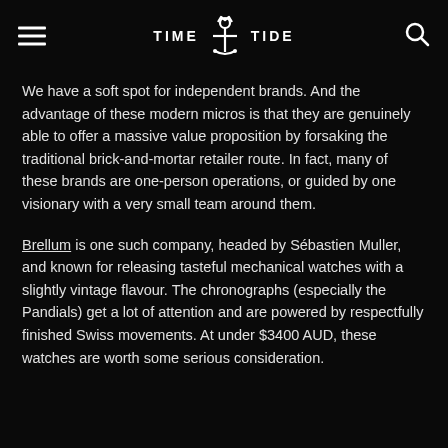TIME TIDE
We have a soft spot for independent brands. And the advantage of these modern micros is that they are genuinely able to offer a massive value proposition by forsaking the traditional brick-and-mortar retailer route. In fact, many of these brands are one-person operations, or guided by one visionary with a very small team around them.
Brellum is one such company, headed by Sébastien Muller, and known for releasing tasteful mechanical watches with a slightly vintage flavour. The chronographs (especially the Pandials) get a lot of attention and are powered by respectfully finished Swiss movements. At under $3400 AUD, these watches are worth some serious consideration.